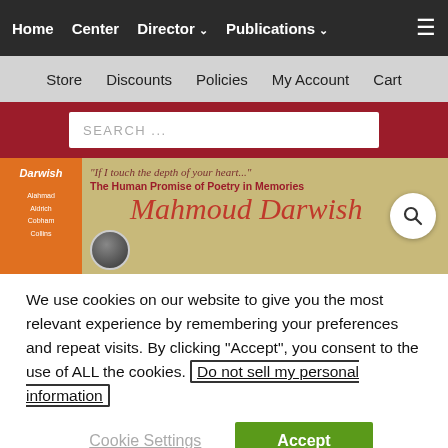Home  Center  Director  Publications  [hamburger menu icon]
Store  Discounts  Policies  My Account  Cart
SEARCH ...
[Figure (photo): Book cover showing 'The Human Promise of Poetry in Memories' featuring Mahmoud Darwish, with orange left panel listing author Darwish and contributors, and cursive red title text on tan background. A magnifying glass button overlays the right side.]
We use cookies on our website to give you the most relevant experience by remembering your preferences and repeat visits. By clicking “Accept”, you consent to the use of ALL the cookies. Do not sell my personal information
Cookie Settings  Accept